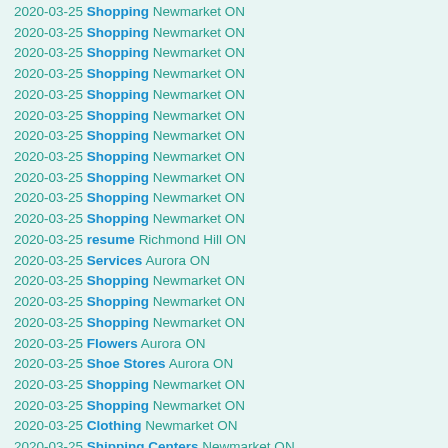2020-03-25 Shopping Newmarket ON
2020-03-25 Shopping Newmarket ON
2020-03-25 Shopping Newmarket ON
2020-03-25 Shopping Newmarket ON
2020-03-25 Shopping Newmarket ON
2020-03-25 Shopping Newmarket ON
2020-03-25 Shopping Newmarket ON
2020-03-25 Shopping Newmarket ON
2020-03-25 Shopping Newmarket ON
2020-03-25 Shopping Newmarket ON
2020-03-25 Shopping Newmarket ON
2020-03-25 resume Richmond Hill ON
2020-03-25 Services Aurora ON
2020-03-25 Shopping Newmarket ON
2020-03-25 Shopping Newmarket ON
2020-03-25 Shopping Newmarket ON
2020-03-25 Flowers Aurora ON
2020-03-25 Shoe Stores Aurora ON
2020-03-25 Shopping Newmarket ON
2020-03-25 Shopping Newmarket ON
2020-03-25 Clothing Newmarket ON
2020-03-25 Shipping Centers Newmarket ON